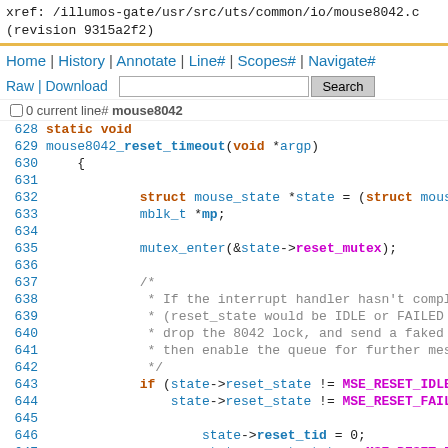xref: /illumos-gate/usr/src/uts/common/io/mouse8042.c
(revision 9315a2f2)
Home | History | Annotate | Line# | Scopes# | Navigate#
Raw | Download   [Search]
[ ] 0 current line# 629: static void
629	static void
630	mouse8042_reset_timeout(void *argp)
631	{
632		struct mouse_state *state = (struct mouse_
633		mblk_t *mp;
634
635		mutex_enter(&state->reset_mutex);
636
637		/*
638		 * If the interrupt handler hasn't complet
639		 * (reset_state would be IDLE or FAILED i
640		 * drop the 8042 lock, and send a faked re
641		 * then enable the queue for further messa
642		 */
643		if (state->reset_state != MSE_RESET_IDLE &
644		    state->reset_state != MSE_RESET_FAILED
645
646			state->reset_tid = 0;
647			state->reset_state = MSE_RESET_IDL
648			cv_signal(&state->reset_cv);
649
650			(void) ddi_get8(state->ms_handle,
651			    I8042_UNLOCK);
652
653			mp = state->reply_mp;